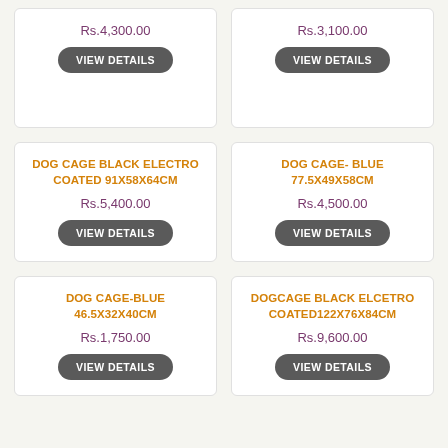Rs.4,300.00
VIEW DETAILS
Rs.3,100.00
VIEW DETAILS
DOG CAGE BLACK ELECTRO COATED 91X58X64CM
Rs.5,400.00
VIEW DETAILS
DOG CAGE- BLUE 77.5X49X58CM
Rs.4,500.00
VIEW DETAILS
DOG CAGE-BLUE 46.5X32X40CM
Rs.1,750.00
VIEW DETAILS
DOGCAGE BLACK ELCETRO COATED122X76X84CM
Rs.9,600.00
VIEW DETAILS